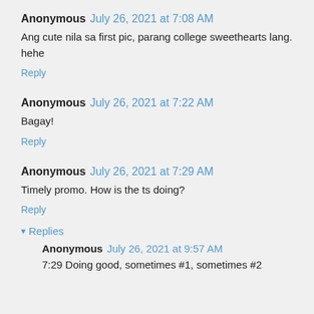Anonymous July 26, 2021 at 7:08 AM
Ang cute nila sa first pic, parang college sweethearts lang. hehe
Reply
Anonymous July 26, 2021 at 7:22 AM
Bagay!
Reply
Anonymous July 26, 2021 at 7:29 AM
Timely promo. How is the ts doing?
Reply
▾ Replies
Anonymous July 26, 2021 at 9:57 AM
7:29 Doing good, sometimes #1, sometimes #2